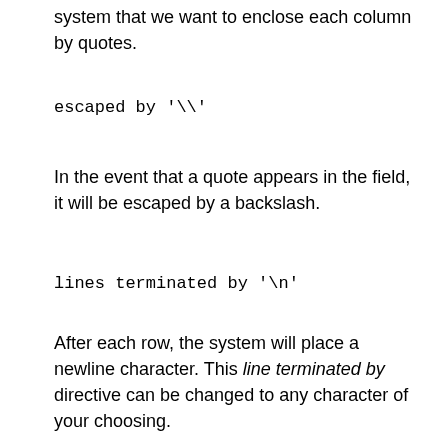system that we want to enclose each column by quotes.
escaped by '\\'
In the event that a quote appears in the field, it will be escaped by a backslash.
lines terminated by '\n'
After each row, the system will place a newline character. This line terminated by directive can be changed to any character of your choosing.
from practice_table;
After all of the above configuration, you place the